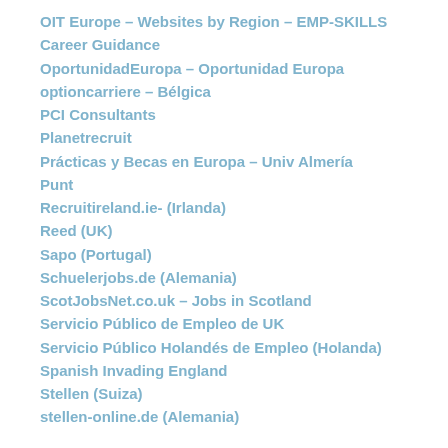OIT Europe – Websites by Region – EMP-SKILLS Career Guidance
OportunidadEuropa – Oportunidad Europa
optioncarriere – Bélgica
PCI Consultants
Planetrecruit
Prácticas y Becas en Europa – Univ Almería
Punt
Recruitireland.ie- (Irlanda)
Reed (UK)
Sapo (Portugal)
Schuelerjobs.de (Alemania)
ScotJobsNet.co.uk – Jobs in Scotland
Servicio Público de Empleo de UK
Servicio Público Holandés de Empleo (Holanda)
Spanish Invading England
Stellen (Suiza)
stellen-online.de (Alemania)